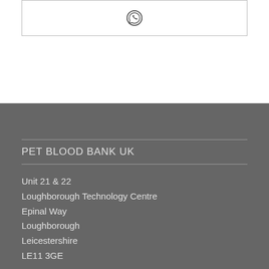[Figure (other): WhatsApp icon inside a bordered box at the top of the page]
PET BLOOD BANK UK
Unit 21 & 22
Loughborough Technology Centre
Epinal Way
Loughborough
Leicestershire
LE11 3GE